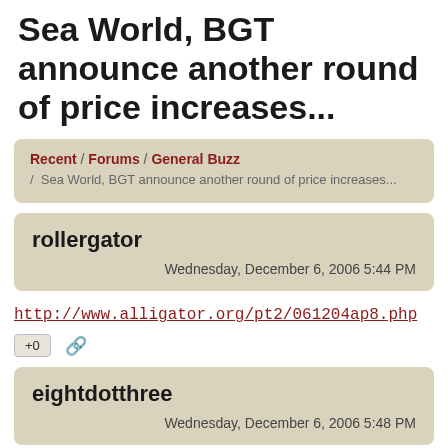Sea World, BGT announce another round of price increases...
Recent / Forums / General Buzz / Sea World, BGT announce another round of price increases...
rollergator
Wednesday, December 6, 2006 5:44 PM
http://www.alligator.org/pt2/061204ap8.php
+0
eightdotthree
Wednesday, December 6, 2006 5:48 PM